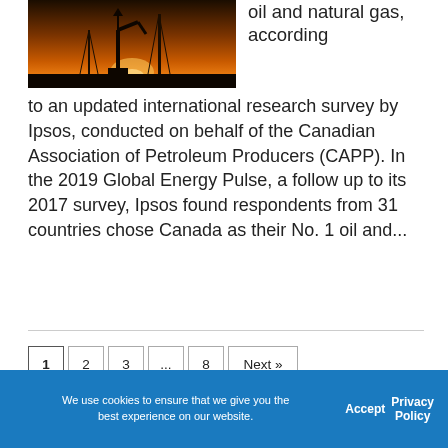[Figure (photo): Oil pumpjack silhouette against an orange sunset sky]
oil and natural gas, according to an updated international research survey by Ipsos, conducted on behalf of the Canadian Association of Petroleum Producers (CAPP). In the 2019 Global Energy Pulse, a follow up to its 2017 survey, Ipsos found respondents from 31 countries chose Canada as their No. 1 oil and...
1
2
3
...
8
Next »
We use cookies to ensure that we give you the best experience on our website.  Accept  Privacy Policy